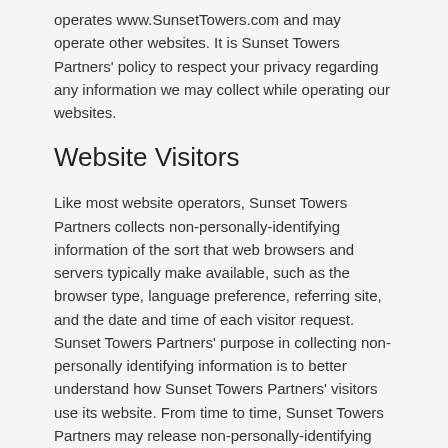operates www.SunsetTowers.com and may operate other websites. It is Sunset Towers Partners' policy to respect your privacy regarding any information we may collect while operating our websites.
Website Visitors
Like most website operators, Sunset Towers Partners collects non-personally-identifying information of the sort that web browsers and servers typically make available, such as the browser type, language preference, referring site, and the date and time of each visitor request. Sunset Towers Partners' purpose in collecting non-personally identifying information is to better understand how Sunset Towers Partners' visitors use its website. From time to time, Sunset Towers Partners may release non-personally-identifying information in the aggregate, e.g., by publishing a report on trends in the usage of its website.
Sunset Towers Partners also collects potentially personally-identifying information like Internet Protocol (IP) addresses for logged in users and for users leaving comments on www.SunsetTowers.com blogs/sites. Sunset Towers Partners only discloses logged in user and